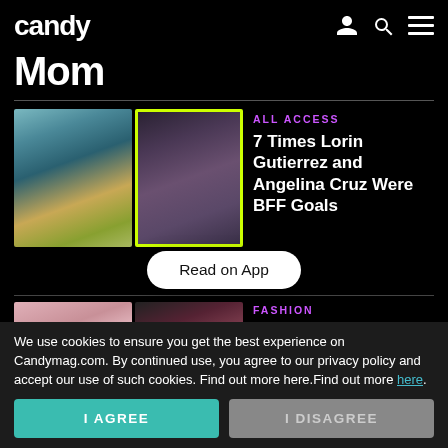candy
Mom
[Figure (photo): Two women posing in swimwear outdoors and two women posing indoors in evening wear; thumbnail images for article]
ALL ACCESS
7 Times Lorin Gutierrez and Angelina Cruz Were BFF Goals
Read on App
[Figure (photo): Two partial thumbnail photos for second article about Julia]
FASHION
Here's Where Julia
We use cookies to ensure you get the best experience on Candymag.com. By continued use, you agree to our privacy policy and accept our use of such cookies. Find out more here.Find out more here.
I AGREE
I DISAGREE